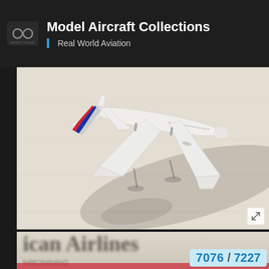Model Aircraft Collections | Real World Aviation
[Figure (photo): Top-down view of a white model aircraft (American Airlines livery) with red/blue/white striped tail, casting shadow on beige surface]
[Figure (photo): Close-up blurred photo of American Airlines model aircraft box/packaging showing partial text 'ican Airlines' in large serif font and a registration number partially visible, with red stripe at bottom and counter badge '7076 / 7227']